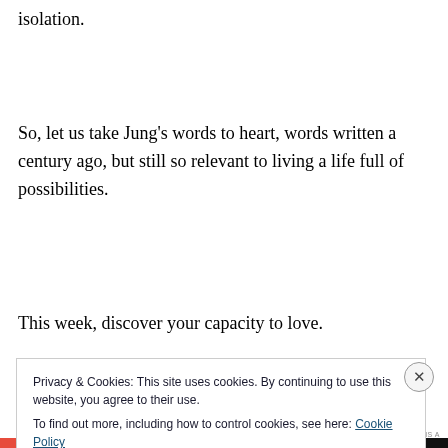isolation.
So, let us take Jung’s words to heart, words written a century ago, but still so relevant to living a life full of possibilities.
This week, discover your capacity to love.
Advertisements
Privacy & Cookies: This site uses cookies. By continuing to use this website, you agree to their use.
To find out more, including how to control cookies, see here: Cookie Policy
Close and accept